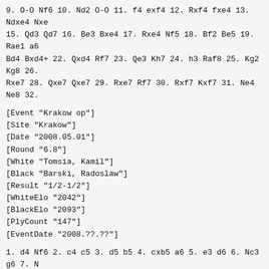9. O-O Nf6 10. Nd2 O-O 11. f4 exf4 12. Rxf4 fxe4 13. Ndxe4 Nxe
15. Qd3 Qd7 16. Be3 Bxe4 17. Rxe4 Nf5 18. Bf2 Be5 19. Rae1 a6
Bd4 Bxd4+ 22. Qxd4 Rf7 23. Qe3 Kh7 24. h3 Raf8 25. Kg2 Kg8 26.
Rxe7 28. Qxe7 Qxe7 29. Rxe7 Rf7 30. Rxf7 Kxf7 31. Ne4 Ne8 32.
[Event "Krakow op"]
[Site "Krakow"]
[Date "2008.05.01"]
[Round "6.8"]
[White "Tomsia, Kamil"]
[Black "Barski, Radoslaw"]
[Result "1/2-1/2"]
[WhiteElo "2042"]
[BlackElo "2093"]
[PlyCount "147"]
[EventDate "2008.??.??"]
1. d4 Nf6 2. c4 c5 3. d5 b5 4. cxb5 a6 5. e3 d6 6. Nc3 g6 7. N
9. O-O axb5 10. Bxb5 Ba6 11. Bxa6 Rxa6 12. h3 Nbd7 13. a4 Qa8
Rb1 e6 16. dxe6 fxe6 17. Re1 d5 18. e5 Ne8 19. b3 Nc7 20. Bg5
22. Bxf8 Rxf8 23. Qd2 Kg7 24. h4 Rf5 25. Ne2 Qf8 26. Ng3 Rf4 2
Qc2 Na6 29. hxg6 hxg6 30. Ng5 Qg8 31. Qd3 Nab8 32. a5 Rg4 33.
Qb8 35. Qe3 Qb6 36. Nh2 Rgf4 37. Ra1 Rf8 38. Qg5 Qd8 39. Nh5+
41. a7 Qxf6 42. Qxf6+ Kxf6 43. a8=Q Rxa8 44. Rxa8 Rxb3 45. Ra6
47. Re1 g5 48. Rb1 c4 49. Nf1 c3 50. Ne3 Ne2+ 51. Kh2 Rxe3 52.
Kh3 Nf2+ 54. Kh2 c2 55. Rf1 c1=Q 56. Rxf2+ Ke5 57. Rxe2 Qc4 58
Kg1 Qe1+ 60. Kh2 Qxe3 61. R6a3 Qe4 62. Ra5 Kf5 63. R2a4 Qe5+ 6
Kg1 Qd1+ 66. Kg2 g4 67. Rf4+ Kg5 68. Ra8 e5 69. Rg8+ Kh6 70. R
Qe1+ 72. Kg2 Qe2+ 73. Kg1 Qe1+ 74. Kg2 1/2-1/2
[Event "Krakow op"]